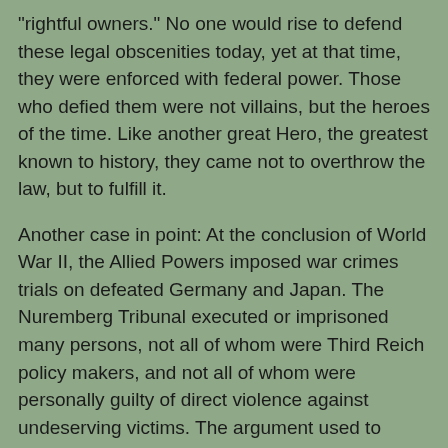"rightful owners." No one would rise to defend these legal obscenities today, yet at that time, they were enforced with federal power. Those who defied them were not villains, but the heroes of the time. Like another great Hero, the greatest known to history, they came not to overthrow the law, but to fulfill it.
Another case in point: At the conclusion of World War II, the Allied Powers imposed war crimes trials on defeated Germany and Japan. The Nuremberg Tribunal executed or imprisoned many persons, not all of whom were Third Reich policy makers, and not all of whom were personally guilty of direct violence against undeserving victims. The argument used to convict them was that they were instruments in the Nazi death machine, that they knowingly participated in organizing its crimes against humanity and giving them the patina of legality, and that the written law of the Reich, which often explicitly prescribed their deeds under threat of horrific punishment, was no defense. Many judges were imprisoned for life on this basis.
These examples and others like them suggest that there are